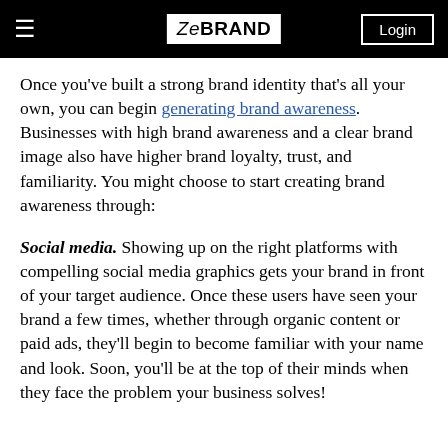ZeBRAND | Login
Once you’ve built a strong brand identity that’s all your own, you can begin generating brand awareness. Businesses with high brand awareness and a clear brand image also have higher brand loyalty, trust, and familiarity. You might choose to start creating brand awareness through:
Social media. Showing up on the right platforms with compelling social media graphics gets your brand in front of your target audience. Once these users have seen your brand a few times, whether through organic content or paid ads, they’ll begin to become familiar with your name and look. Soon, you’ll be at the top of their minds when they face the problem your business solves!